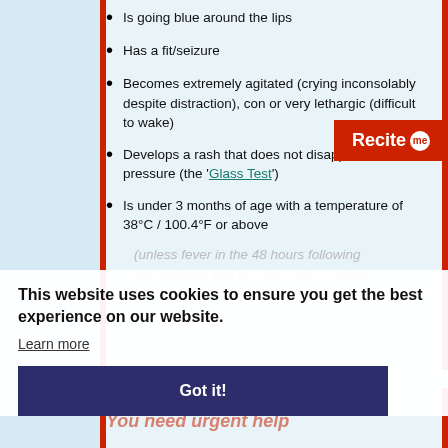Is going blue around the lips
Has a fit/seizure
Becomes extremely agitated (crying inconsolably despite distraction), con or very lethargic (difficult to wake)
Develops a rash that does not disappear with pressure (the 'Glass Test')
Is under 3 months of age with a temperature of 38°C / 100.4°F or above
(unless fever in the 48 hours following vaccinations and no other red or amber
This website uses cookies to ensure you get the best experience on our website.
Learn more
Got it!
You need urgent help